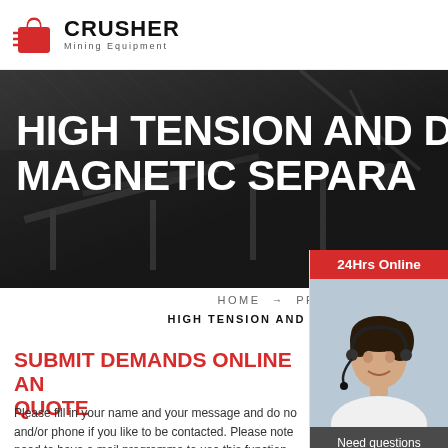[Figure (logo): Crusher Mining Equipment logo with red shopping bag icon and bold CRUSHER text]
[Figure (photo): Dark industrial background with heavy mining machinery silhouettes, hero banner image]
HIGH TENSION AND DRY MAGNETIC SEPARATOR
HOME → PRODUCT →
HIGH TENSION AND DRY MAGNETIC SE
[Figure (photo): 24Hrs Online sidebar with photo of female customer service agent with headset]
SUBMIT DEMANDS ONLINE AND GET QUOTE
Please fill in your name and your message and do not forget mail and/or phone if you like to be contacted. Please note that you need to have a mail programme to use this function.
Need questions & suggestion?
Chat Now
Enquiry
limingjlmofen@sina.com